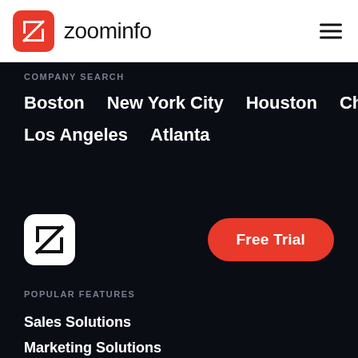zoominfo
COMPANY SEARCH
Boston
New York City
Houston
Chicago
Los Angeles
Atlanta
[Figure (logo): ZoomInfo Z logo icon, white background with black Z letter mark]
Free Trial
POPULAR FEATURES
Sales Solutions
Marketing Solutions